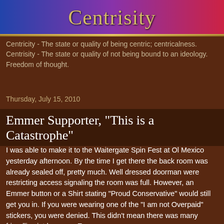Centrisity
Centricity - The state or quality of being centric; centricalness.
Centrisity - The state or quality of not being bound to an ideology. Freedom of thought.
Thursday, July 15, 2010
Emmer Supporter, "This is a Catastrophe"
I was able to make it to the Waitergate Spin Fest at Ol Mexico yesterday afternoon. By the time I get there the back room was already sealed off, pretty much. Well dressed doorman were restricting access signaling the room was full. However, an Emmer button or a Shirt stating "Proud Conservative" would still get you in. If you were wearing one of the "I am not Overpaid" stickers, you were denied. This didn't mean there was many friendlies int he room. Emmer,